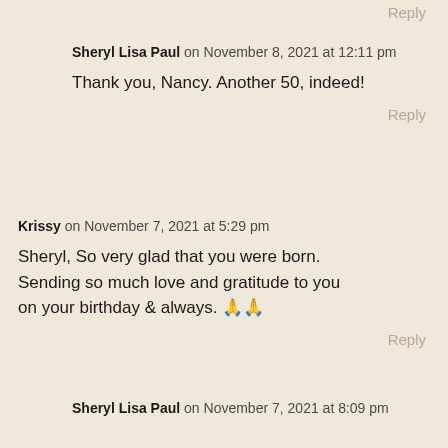Reply
Sheryl Lisa Paul on November 8, 2021 at 12:11 pm
Thank you, Nancy. Another 50, indeed!
Reply
Krissy on November 7, 2021 at 5:29 pm
Sheryl, So very glad that you were born. Sending so much love and gratitude to you on your birthday & always. 🙏🙏
Reply
Sheryl Lisa Paul on November 7, 2021 at 8:09 pm